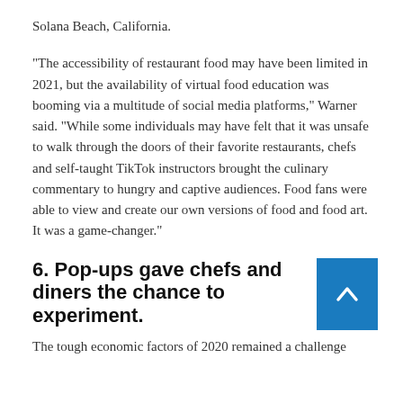Solana Beach, California.
“The accessibility of restaurant food may have been limited in 2021, but the availability of virtual food education was booming via a multitude of social media platforms,” Warner said. “While some individuals may have felt that it was unsafe to walk through the doors of their favorite restaurants, chefs and self-taught TikTok instructors brought the culinary commentary to hungry and captive audiences. Food fans were able to view and create our own versions of food and food art. It was a game-changer.”
6. Pop-ups gave chefs and diners the chance to experiment.
The tough economic factors of 2020 remained a challenge